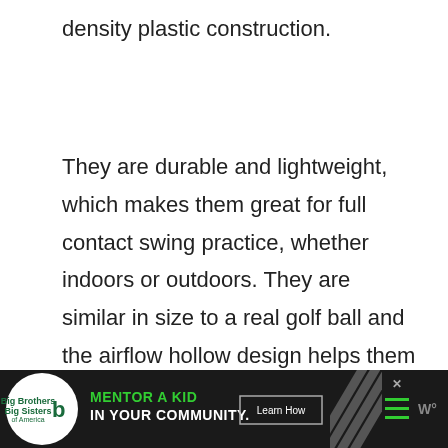density plastic construction.
They are durable and lightweight, which makes them great for full contact swing practice, whether indoors or outdoors. They are similar in size to a real golf ball and the airflow hollow design helps them simulate a real golf ball quite accurately.
[Figure (other): Advertisement banner for Big Brothers Big Sisters: 'MENTOR A KID IN YOUR COMMUNITY.' with a Learn How button, diagonal stripe pattern, hamburger menu icon, and weather widget icon]